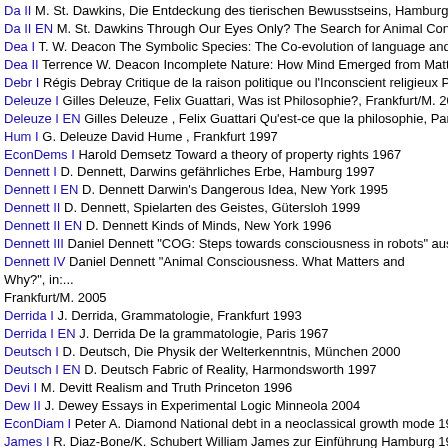Da II M. St. Dawkins, Die Entdeckung des tierischen Bewusstseins, Hamburg 19...
Da II EN M. St. Dawkins Through Our Eyes Only? The Search for Animal Consci...
Dea I T. W. Deacon The Symbolic Species: The Co-evolution of language and the...
Dea II Terrence W. Deacon Incomplete Nature: How Mind Emerged from Matter N...
Debr I Régis Debray Critique de la raison politique ou l'Inconscient religieux Paris...
Deleuze I Gilles Deleuze, Felix Guattari, Was ist Philosophie?, Frankfurt/M. 2000
Deleuze I EN Gilles Deleuze , Felix Guattari Qu'est-ce que la philosophie, Paris 1...
Hum I G. Deleuze David Hume , Frankfurt 1997
EconDems I Harold Demsetz Toward a theory of property rights 1967
Dennett I D. Dennett, Darwins gefährliches Erbe, Hamburg 1997
Dennett I EN D. Dennett Darwin's Dangerous Idea, New York 1995
Dennett II D. Dennett, Spielarten des Geistes, Gütersloh 1999
Dennett II EN D. Dennett Kinds of Minds, New York 1996
Dennett III Daniel Dennett "COG: Steps towards consciousness in robots" aus "B...
Dennett IV Daniel Dennett "Animal Consciousness. What Matters and Why?", in: Frankfurt/M. 2005
Derrida I J. Derrida, Grammatologie, Frankfurt 1993
Derrida I EN J. Derrida De la grammatologie, Paris 1967
Deutsch I D. Deutsch, Die Physik der Welterkenntnis, München 2000
Deutsch I EN D. Deutsch Fabric of Reality, Harmondsworth 1997
Devi I M. Devitt Realism and Truth Princeton 1996
Dew II J. Dewey Essays in Experimental Logic Minneola 2004
EconDiam I Peter A. Diamond National debt in a neoclassical growth mode 1965
James I R. Diaz-Bone/K. Schubert William James zur Einführung Hamburg 1996
Dilth I W. Dilthey Gesammelte Schriften, Bd.1, Einleitung in die Geisteswissensch...
Dodd I J. Dodd An Identity Theory of Truth Basingstoke 2008
Dod I P. C. Dodwell Brave New Mind: A Thoughtful Inquiry Into the Nature and M...
Dollo I Louis Dollo Louis Dollo's Papers on Paleontology and Evolution: Original A...
Dona A, Donagan The Theory of Morality Chicago 1979
Donnellan I Keith S. Donnellan "Reference and Definite Descriptions", in: Philoso...
EconDowns I Anthony Downs An economic theory of democracy New York 1957
Dowt I D. R. Dowty Word Meaning and Montague Grammar: The Semantics of V...